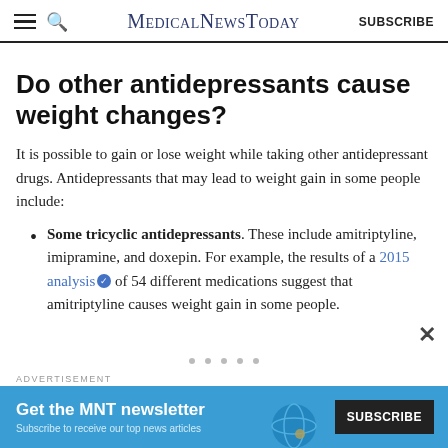MedicalNewsToday  SUBSCRIBE
Do other antidepressants cause weight changes?
It is possible to gain or lose weight while taking other antidepressant drugs. Antidepressants that may lead to weight gain in some people include:
Some tricyclic antidepressants. These include amitriptyline, imipramine, and doxepin. For example, the results of a 2015 analysis of 54 different medications suggest that amitriptyline causes weight gain in some people.
[Figure (infographic): Advertisement banner for MNT newsletter subscription with blue background reading 'Get the MNT newsletter' and a Subscribe button]